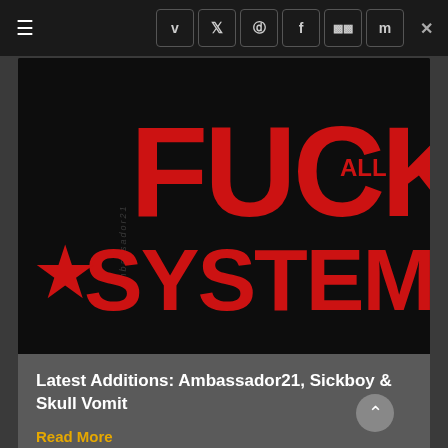≡  v  t  [instagram]  f  [soundcloud]  m  ×
[Figure (illustration): Black background graphic with large red bold text reading 'FUCK ALL SYSTEMS' with a red star on the left and vertical small text reading 'ambassador21']
Latest Additions: Ambassador21, Sickboy & Skull Vomit
Read More